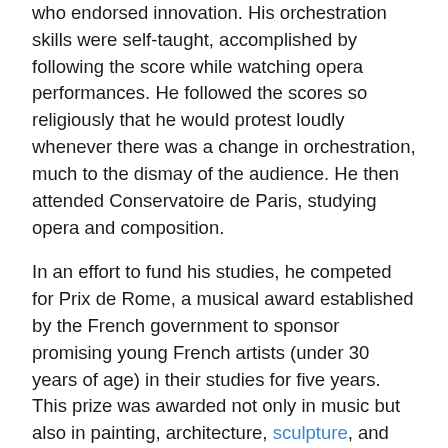who endorsed innovation. His orchestration skills were self-taught, accomplished by following the score while watching opera performances. He followed the scores so religiously that he would protest loudly whenever there was a change in orchestration, much to the dismay of the audience. He then attended Conservatoire de Paris, studying opera and composition.
In an effort to fund his studies, he competed for Prix de Rome, a musical award established by the French government to sponsor promising young French artists (under 30 years of age) in their studies for five years. This prize was awarded not only in music but also in painting, architecture, sculpture, and engraving. The winner received 3,000 francs (approximately 2,500 USDollars) for each year and was required to pledge to spend the first two years at the French Academy in Rome and the third year in Germany. Claude Debussy was one of the winners. However, the Prix de Rome was eluding the young Berlioz,